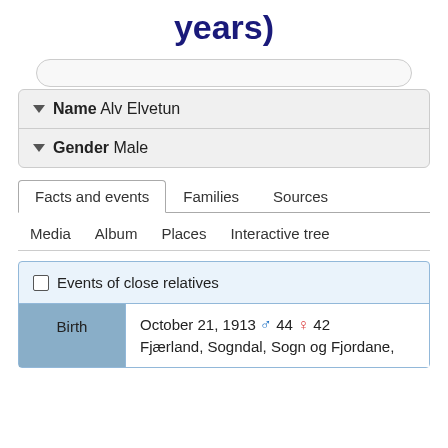years)
Name Alv Elvetun
Gender Male
Facts and events | Families | Sources | Media | Album | Places | Interactive tree
Events of close relatives
|  | Details |
| --- | --- |
| Birth | October 21, 1913 ♂ 44 ♀ 42
Fjærland, Sogndal, Sogn og Fjordane, |